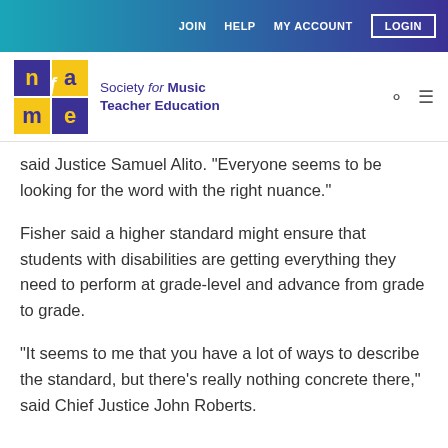JOIN  HELP  MY ACCOUNT  LOGIN
[Figure (logo): NAME (Society for Music Teacher Education) logo with blue and yellow tiled letters]
said Justice Samuel Alito. “Everyone seems to be looking for the word with the right nuance.”
Fisher said a higher standard might ensure that students with disabilities are getting everything they need to perform at grade-level and advance from grade to grade.
“It seems to me that you have a lot of ways to describe the standard, but there’s really nothing concrete there,” said Chief Justice John Roberts.